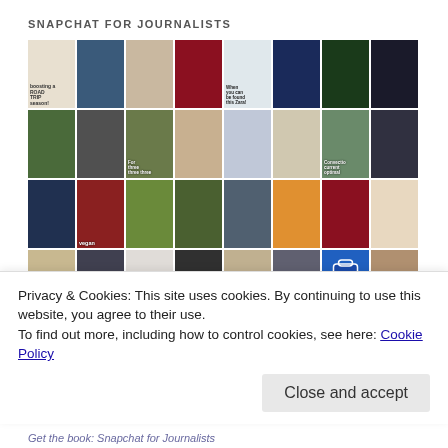SNAPCHAT FOR JOURNALISTS
[Figure (photo): Grid of Snapchat story screenshots showing various content including road trip text, food, people, animals, and other social media posts]
Privacy & Cookies: This site uses cookies. By continuing to use this website, you agree to their use.
To find out more, including how to control cookies, see here: Cookie Policy
Get the book: Snapchat for Journalists